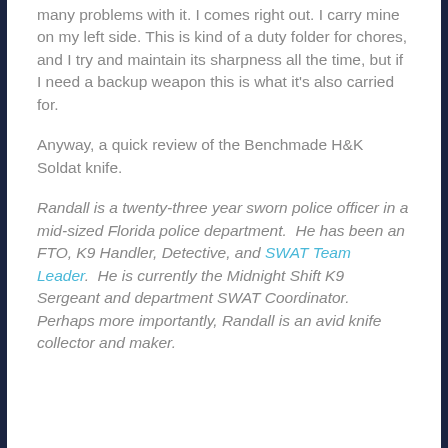many problems with it. I comes right out. I carry mine on my left side. This is kind of a duty folder for chores, and I try and maintain its sharpness all the time, but if I need a backup weapon this is what it's also carried for.
Anyway, a quick review of the Benchmade H&K Soldat knife.
Randall is a twenty-three year sworn police officer in a mid-sized Florida police department. He has been an FTO, K9 Handler, Detective, and SWAT Team Leader. He is currently the Midnight Shift K9 Sergeant and department SWAT Coordinator. Perhaps more importantly, Randall is an avid knife collector and maker.